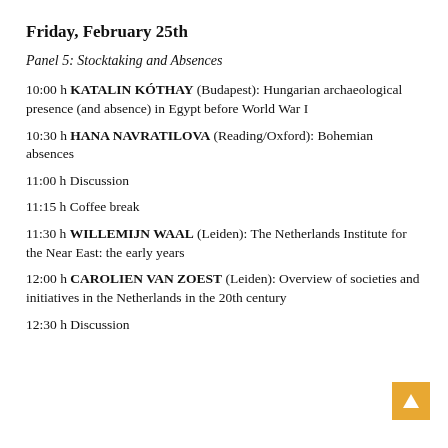Friday, February 25th
Panel 5: Stocktaking and Absences
10:00 h KATALIN KÓTHAY (Budapest): Hungarian archaeological presence (and absence) in Egypt before World War I
10:30 h HANA NAVRATILOVA (Reading/Oxford): Bohemian absences
11:00 h Discussion
11:15 h Coffee break
11:30 h WILLEMIJN WAAL (Leiden): The Netherlands Institute for the Near East: the early years
12:00 h CAROLIEN VAN ZOEST (Leiden): Overview of societies and initiatives in the Netherlands in the 20th century
12:30 h Discussion